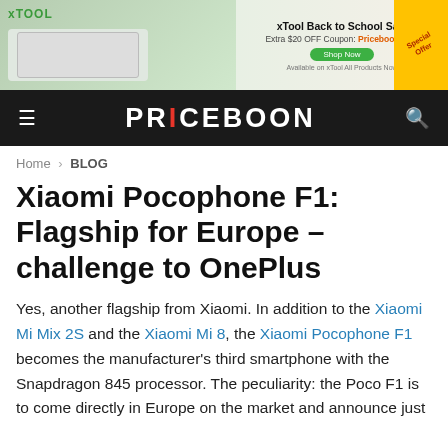[Figure (photo): xTool advertisement banner: xTool Back to School Sale, Extra $20 OFF Coupon: Priceboon2022, with product image of a laser engraver and a Special Offer corner badge]
PRICEBOON
Home › BLOG
Xiaomi Pocophone F1: Flagship for Europe – challenge to OnePlus
Yes, another flagship from Xiaomi. In addition to the Xiaomi Mi Mix 2S and the Xiaomi Mi 8, the Xiaomi Pocophone F1 becomes the manufacturer's third smartphone with the Snapdragon 845 processor. The peculiarity: the Poco F1 is to come directly in Europe on the market and announce just